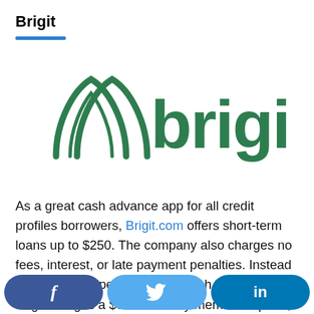Brigit
[Figure (logo): Brigit company logo — green icon of two overlapping arches beside the word 'brigit' in green rounded lettering]
As a great cash advance app for all credit profiles borrowers, Brigit.com offers short-term loans up to $250. The company also charges no fees, interest, or late payment penalties. Instead of applying a specific APR to each borrower, Brigit charges a $9.99 monthly membership fee, allowing full